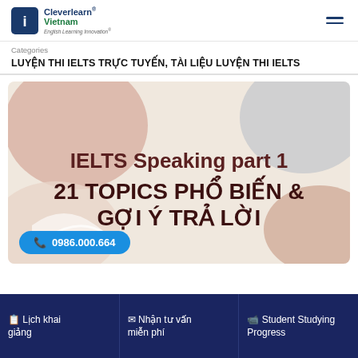Cleverlearn Vietnam | English Learning Innovation
Categories
LUYỆN THI IELTS TRỰC TUYẾN, TÀI LIỆU LUYỆN THI IELTS
[Figure (illustration): Promotional banner for IELTS Speaking Part 1 with decorative abstract shapes in beige, brown, white and gray tones. Text reads: IELTS Speaking part 1 / 21 TOPICS PHỔ BIẾN & GỢI Ý TRẢ LỜI]
📞 0986.000.664
🗒 Lịch khai giảng
✉ Nhận tư vấn miễn phí
📹 Student Studying Progress